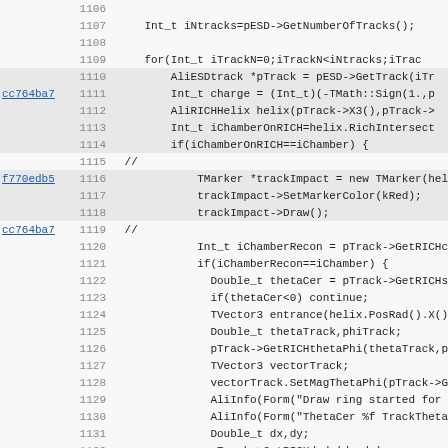[Figure (screenshot): Source code viewer showing lines 1106-1138 of C++ code with commit hashes cc764ba7, f770edb5, cc764ba7, and 56030c8d annotating certain lines. Code involves AliESD track processing with RICH detector helix intersection logic.]